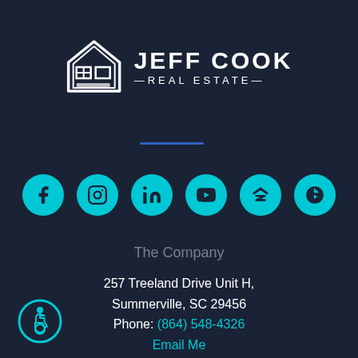[Figure (logo): Jeff Cook Real Estate logo with house icon and text]
[Figure (infographic): Row of six teal social media icon circles: Facebook, Instagram, LinkedIn, YouTube, Zillow, Yelp]
The Company
257 Treeland Drive Unit H,
Summerville, SC 29456
Phone: (864) 548-4326
Email Me
[Figure (illustration): Accessibility badge icon — wheelchair symbol in teal circle]